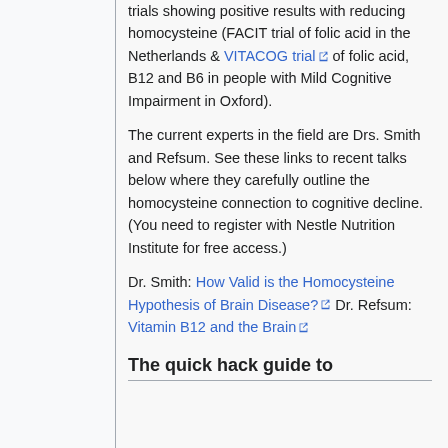trials showing positive results with reducing homocysteine (FACIT trial of folic acid in the Netherlands & VITACOG trial of folic acid, B12 and B6 in people with Mild Cognitive Impairment in Oxford).
The current experts in the field are Drs. Smith and Refsum. See these links to recent talks below where they carefully outline the homocysteine connection to cognitive decline. (You need to register with Nestle Nutrition Institute for free access.)
Dr. Smith: How Valid is the Homocysteine Hypothesis of Brain Disease? Dr. Refsum: Vitamin B12 and the Brain
The quick hack guide to